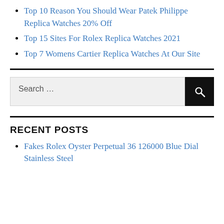Top 10 Reason You Should Wear Patek Philippe Replica Watches 20% Off
Top 15 Sites For Rolex Replica Watches 2021
Top 7 Womens Cartier Replica Watches At Our Site
RECENT POSTS
Fakes Rolex Oyster Perpetual 36 126000 Blue Dial Stainless Steel